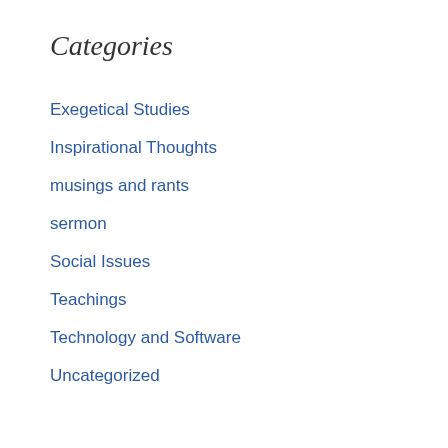Categories
Exegetical Studies
Inspirational Thoughts
musings and rants
sermon
Social Issues
Teachings
Technology and Software
Uncategorized
Sermons
by Harold Miller, Jr.
Meta